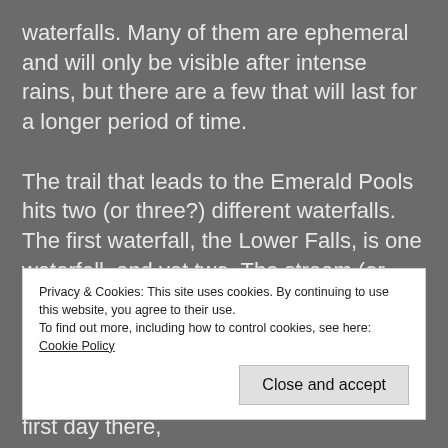waterfalls. Many of them are ephemeral and will only be visible after intense rains, but there are a few that will last for a longer period of time.
The trail that leads to the Emerald Pools hits two (or three?) different waterfalls. The first waterfall, the Lower Falls, is one waterfall, and yet two. The stream (or possibly two separate streams?) splits in two directions,
Privacy & Cookies: This site uses cookies. By continuing to use this website, you agree to their use.
To find out more, including how to control cookies, see here: Cookie Policy
was still very cloudy in the park on my first day there,